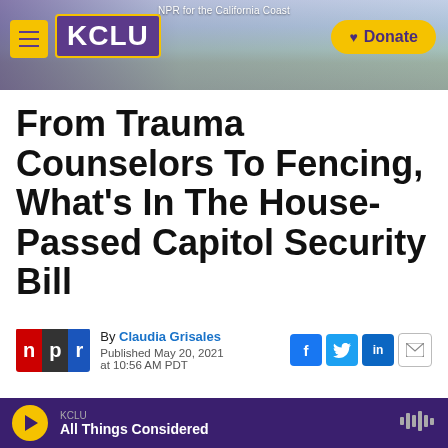[Figure (screenshot): KCLU NPR radio station website header with logo, hamburger menu, donate button, and coastal background photo]
From Trauma Counselors To Fencing, What's In The House-Passed Capitol Security Bill
By Claudia Grisales
Published May 20, 2021 at 10:56 AM PDT
[Figure (logo): NPR logo with red N, gray P, blue R blocks]
[Figure (screenshot): Social share icons: Facebook, Twitter, LinkedIn, Email]
KCLU
All Things Considered